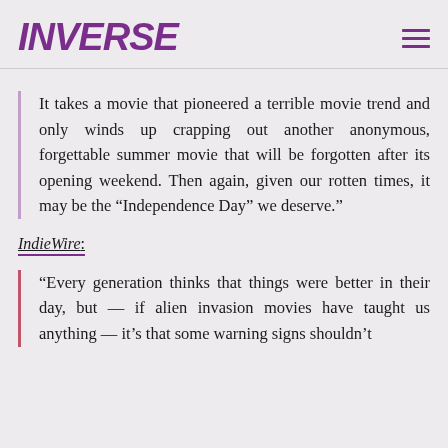INVERSE
It takes a movie that pioneered a terrible movie trend and only winds up crapping out another anonymous, forgettable summer movie that will be forgotten after its opening weekend. Then again, given our rotten times, it may be the “Independence Day” we deserve.”
IndieWire:
“Every generation thinks that things were better in their day, but — if alien invasion movies have taught us anything — it’s that some warning signs shouldn’t